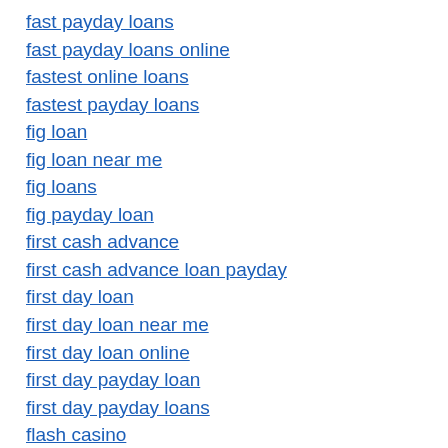fast payday loans
fast payday loans online
fastest online loans
fastest payday loans
fig loan
fig loan near me
fig loans
fig payday loan
first cash advance
first cash advance loan payday
first day loan
first day loan near me
first day loan online
first day payday loan
first day payday loans
flash casino
free pokies online
gentle breeze loan
gentle breeze loans